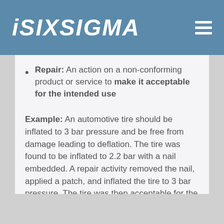iSixSigma
Repair: An action on a non-conforming product or service to make it acceptable for the intended use
Example: An automotive tire should be inflated to 3 bar pressure and be free from damage leading to deflation. The tire was found to be inflated to 2.2 bar with a nail embedded. A repair activity removed the nail, applied a patch, and inflated the tire to 3 bar pressure. The tire was then acceptable for the intended use.